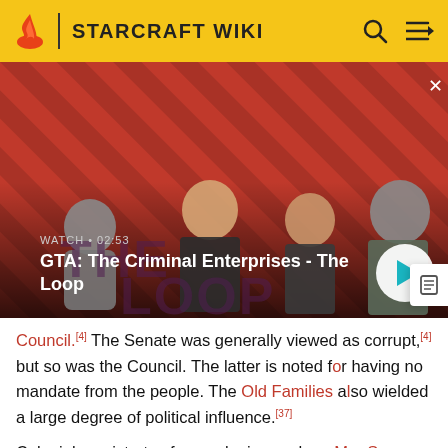STARCRAFT WIKI
[Figure (screenshot): Video thumbnail for 'GTA: The Criminal Enterprises - The Loop' showing four characters on a red striped background. Shows WATCH • 02:53 label and a play button.]
Council.[4] The Senate was generally viewed as corrupt,[4] but so was the Council. The latter is noted for having no mandate from the people. The Old Families also wielded a large degree of political influence.[37]
Colonial magistrates from colonies such as Mar Sara and